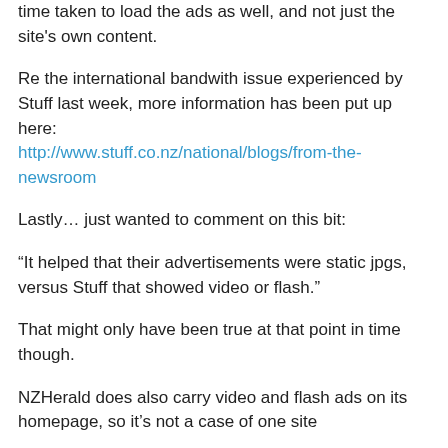time taken to load the ads as well, and not just the site's own content.
Re the international bandwith issue experienced by Stuff last week, more information has been put up here: http://www.stuff.co.nz/national/blogs/from-the-newsroom
Lastly… just wanted to comment on this bit:
“It helped that their advertisements were static jpgs, versus Stuff that showed video or flash.”
That might only have been true at that point in time though.
NZHerald does also carry video and flash ads on its homepage, so it’s not a case of one site